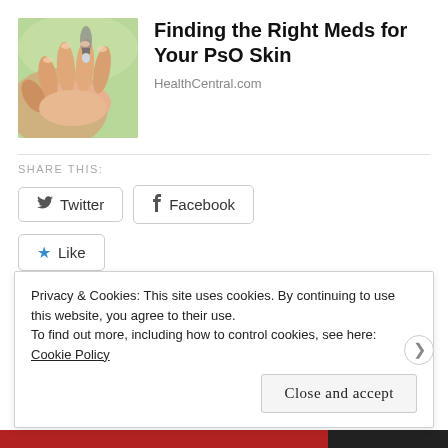[Figure (photo): Close-up photo of a hand with liquid drops being applied, green blurred background, skin care/medication context]
Finding the Right Meds for Your PsO Skin
HealthCentral.com
SHARE THIS:
Twitter
Facebook
Like
Be the first to like this.
CATEGORIES BLOGS ABOUT ART, BLOGS ABOUT WRITING, BLOGS THAT ARE ACTUALLY ME PRETENDING
Privacy & Cookies: This site uses cookies. By continuing to use this website, you agree to their use.
To find out more, including how to control cookies, see here: Cookie Policy
Close and accept